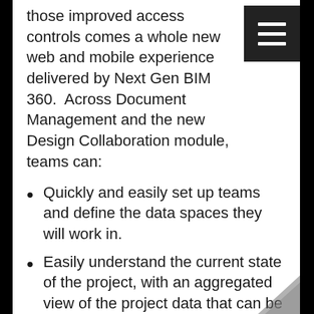those improved access controls comes a whole new web and mobile experience delivered by Next Gen BIM 360.  Across Document Management and the new Design Collaboration module, teams can:
Quickly and easily set up teams and define the data spaces they will work in.
Easily understand the current state of the project, with an aggregated view of the project data that can be navigated the way they think about it, not how our beloved authoring tools structure it.
Exchange data between teams in a controlled way, on the back of our new currency for data exchanges: Packages. These are like transmittals on steroids, allowing teams to curate the versions of Models, 2D Sheets, and 3D Views needed